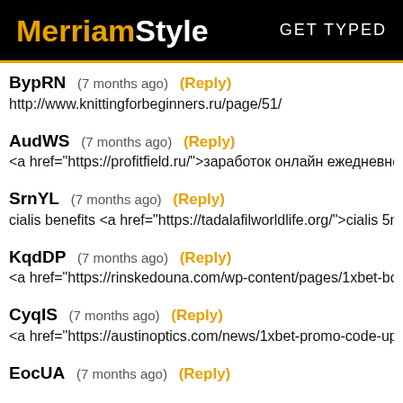MerriamStyle  GET TYPED
BypRN  (7 months ago)  (Reply)
http://www.knittingforbeginners.ru/page/51/
AudWS  (7 months ago)  (Reply)
<a href="https://profitfield.ru/">заработок онлайн ежедневно<
SrnYL  (7 months ago)  (Reply)
cialis benefits <a href="https://tadalafilworldlife.org/">cialis 5mg
KqdDP  (7 months ago)  (Reply)
<a href="https://rinskedouna.com/wp-content/pages/1xbet-bonu
CyqIS  (7 months ago)  (Reply)
<a href="https://austinoptics.com/news/1xbet-promo-code-up-to
EocUA  (7 months ago)  (Reply)